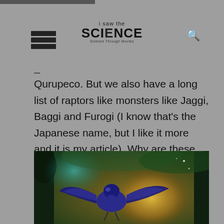i saw the SCIENCE
Qurupeco. But we also have a long list of raptors like monsters like Jaggi, Baggi and Furogi (I know that’s the Japanese name, but I like it more and it is my article). Why are these lovely velociraptor-inspired monsters listed under bird wyverns? Oh boy, do I have a story to tell.
[Figure (illustration): A blue winged creature spreading its wings in a jungle/forest environment with warm golden light glowing behind it and teal atmospheric lighting.]